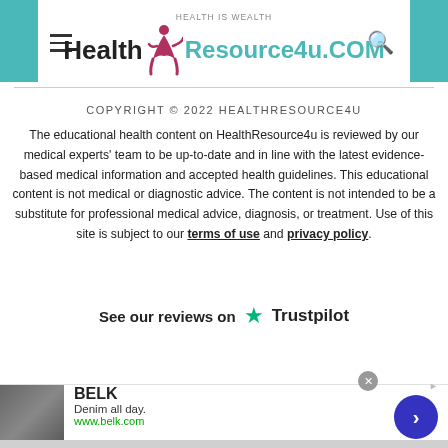[Figure (logo): HealthResource4u.COM logo with tagline 'Health is Wealth', teal accent color, stylized running figure]
COPYRIGHT © 2022 HEALTHRESOURCE4U
The educational health content on HealthResource4u is reviewed by our medical experts' team to be up-to-date and in line with the latest evidence-based medical information and accepted health guidelines. This educational content is not medical or diagnostic advice. The content is not intended to be a substitute for professional medical advice, diagnosis, or treatment. Use of this site is subject to our terms of use and privacy policy.
See our reviews on   Trustpilot
[Figure (screenshot): Infolinks advertisement bar with BELK ad: Denim all day. www.belk.com]